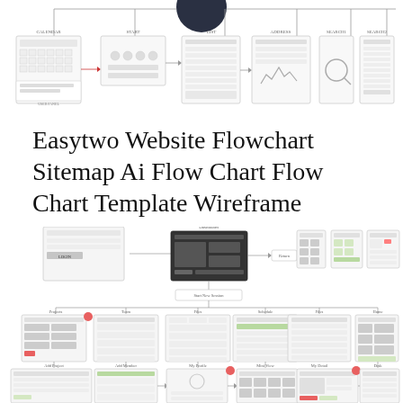[Figure (flowchart): Top portion of a website flowchart/sitemap wireframe diagram showing various UI screen mockups connected by arrows, with a dark circle element at the top center]
Easytwo Website Flowchart Sitemap Ai Flow Chart Flow Chart Template Wireframe
[Figure (flowchart): Lower portion of a detailed website flowchart sitemap showing wireframe mockups of multiple screens connected by lines and arrows, including login, dashboard, profile, settings, and other UI screens arranged in a hierarchical flow]